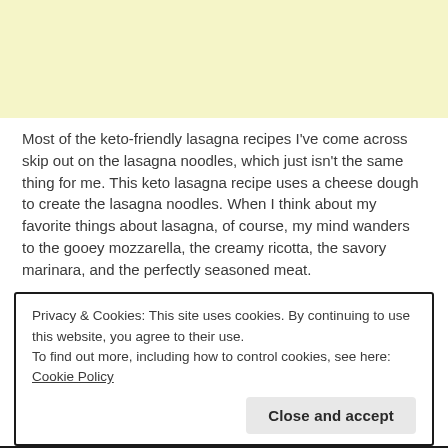[Figure (other): Light yellow/cream colored advertisement banner area]
Most of the keto-friendly lasagna recipes I've come across skip out on the lasagna noodles, which just isn't the same thing for me. This keto lasagna recipe uses a cheese dough to create the lasagna noodles. When I think about my favorite things about lasagna, of course, my mind wanders to the gooey mozzarella, the creamy ricotta, the savory marinara, and the perfectly seasoned meat.
Privacy & Cookies: This site uses cookies. By continuing to use this website, you agree to their use.
To find out more, including how to control cookies, see here: Cookie Policy
Close and accept
Learn more